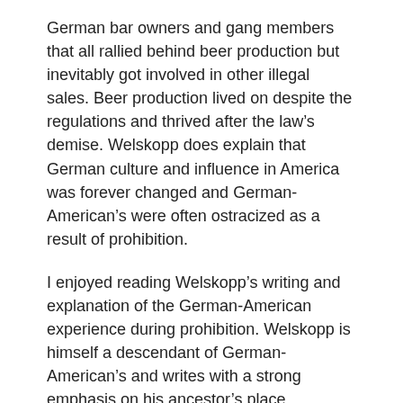German bar owners and gang members that all rallied behind beer production but inevitably got involved in other illegal sales. Beer production lived on despite the regulations and thrived after the law's demise. Welskopp does explain that German culture and influence in America was forever changed and German-American's were often ostracized as a result of prohibition.
I enjoyed reading Welskopp's writing and explanation of the German-American experience during prohibition. Welskopp is himself a descendant of German-American's and writes with a strong emphasis on his ancestor's place, contribution, and involvement in history. The writing is academic with many footnotes and credible sources. This does not, however, make the publication hard to read. I found his writing engaging and extremely interesting due to fascinating examples and insight into German-American life. The writing uses the German-